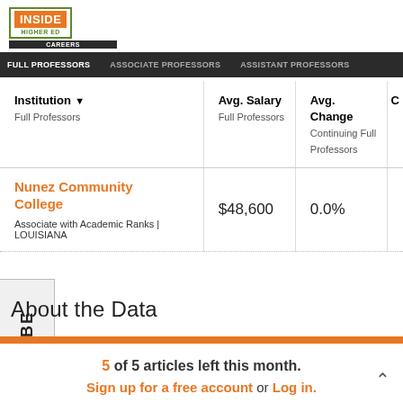[Figure (logo): Inside Higher Ed logo with green border, orange background, green HIGHER ED text, dark CAREERS bar]
FULL PROFESSORS | ASSOCIATE PROFESSORS | ASSISTANT PROFESSORS
| Institution
Full Professors | Avg. Salary
Full Professors | Avg. Change
Continuing Full Professors | C |
| --- | --- | --- | --- |
| Nunez Community College
Associate with Academic Ranks | LOUISIANA | $48,600 | 0.0% |  |
About the Data
5 of 5 articles left this month.
Sign up for a free account or Log in.